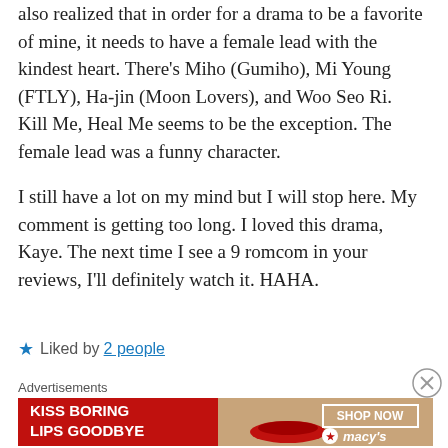also realized that in order for a drama to be a favorite of mine, it needs to have a female lead with the kindest heart. There’s Miho (Gumiho), Mi Young (FTLY), Ha-jin (Moon Lovers), and Woo Seo Ri. Kill Me, Heal Me seems to be the exception. The female lead was a funny character.
I still have a lot on my mind but I will stop here. My comment is getting too long. I loved this drama, Kaye. The next time I see a 9 romcom in your reviews, I’ll definitely watch it. HAHA.
★ Liked by 2 people
[Figure (other): Advertisement banner: KISS BORING LIPS GOODBYE with SHOP NOW button and macys logo, featuring a woman's face with red lips]